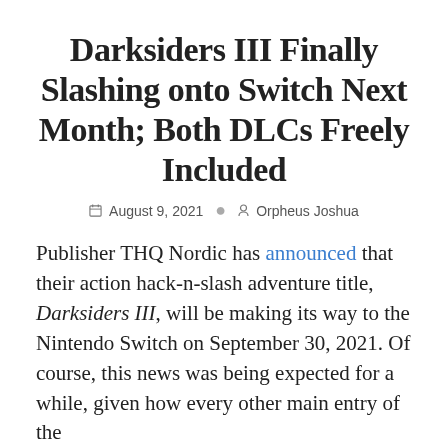Darksiders III Finally Slashing onto Switch Next Month; Both DLCs Freely Included
August 9, 2021   Orpheus Joshua
Publisher THQ Nordic has announced that their action hack-n-slash adventure title, Darksiders III, will be making its way to the Nintendo Switch on September 30, 2021. Of course, this news was being expected for a while, given how every other main entry of the